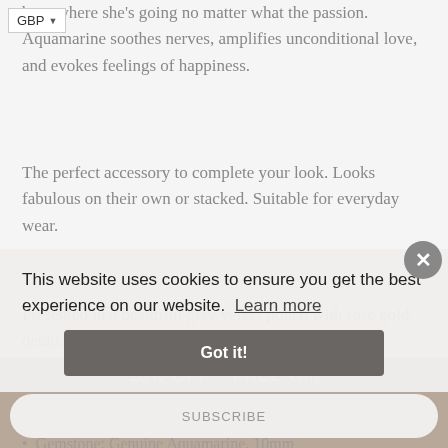GBP
bout where she's going no matter what the passion. Aquamarine soothes nerves, amplifies unconditional love, and evokes feelings of happiness.
The perfect accessory to complete your look. Looks fabulous on their own or stacked. Suitable for everyday wear.
Presented in a beautiful grey velvet pouch with rose gold details.
ADDITIONAL INFORMATION
Gemstone: Genuine Aquamarine, 10mm
Metal: 005 Sterling Silver, Champagne
Ring: 925 Sterling Silver, Champagne
10% OFF + FREE Gift
This website uses cookies to ensure you get the best experience on our website. Learn more
Got it!
SUBSCRIBE